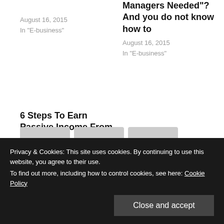August 16, 2015
In "E-business"
Managers Needed"? And you do not know how to
August 16, 2015
In "E-business"
6 Steps To Earn Passive Income From A Website
July 9, 2022
In "E-business"
Privacy & Cookies: This site uses cookies. By continuing to use this website, you agree to their use.
To find out more, including how to control cookies, see here: Cookie Policy
Close and accept